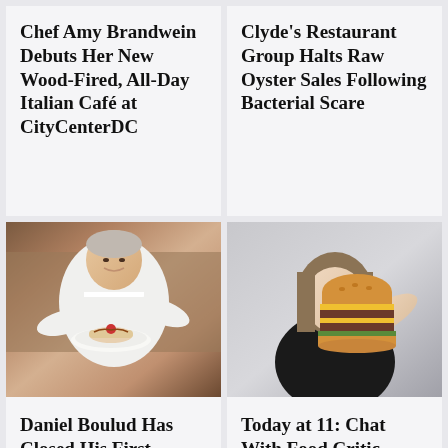Chef Amy Brandwein Debuts Her New Wood-Fired, All-Day Italian Café at CityCenterDC
Clyde's Restaurant Group Halts Raw Oyster Sales Following Bacterial Scare
[Figure (photo): Photo of Daniel Boulud in chef whites holding a plate with a dessert roll]
Daniel Boulud Has Closed His First
[Figure (photo): Photo of a woman in black holding a large burger in front of her face]
Today at 11: Chat With Food Critic